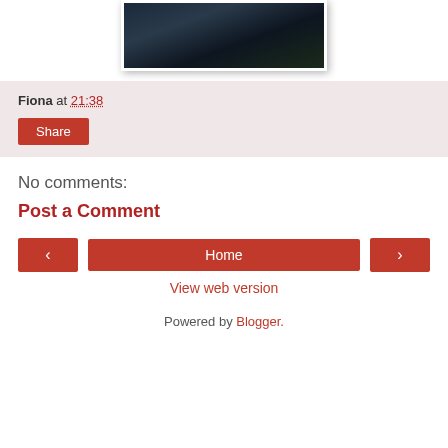[Figure (photo): Dark rocky mountain landscape photo, partially cropped at top, with white border]
Fiona at 21:38
Share
No comments:
Post a Comment
‹  Home  ›
View web version
Powered by Blogger.